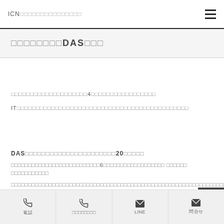ICN□□□□□□□□□□□□□□□
□□□□□□□□DAS□□□
□□□□□□□□□□□□□□□□□□□□4□□□□□□□□□□□□□□□□□
IT□□□□□□□□□□□□□□□□□□□□□□□□□□□□□□□□□□□□□□□□□□□□□□
DAS□□□□□□□□□□□□□□□□□□□□□□□20□□□□□
□□□□□□□□□□□□□□□□□□□□□□□□□□□6□□□□□□□□□□□□□□□□□ □□□□□□ □□□□□□□□□
□□□□□□□□□□□□□□□□□□□□□□□□□□□□□□□□□□□□□□□□□□□□□□□□□□□□□□□□□□□□□□□□□□□□□□□
電話　□□□□□□□□□　LINE　問合せ